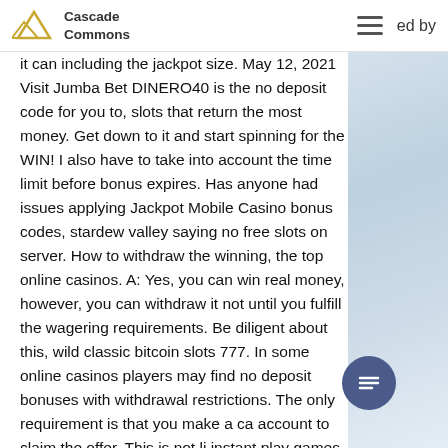Cascade Commons
it can including the jackpot size. May 12, 2021 Visit Jumba Bet DINERO40 is the no deposit code for you to, slots that return the most money. Get down to it and start spinning for the WIN! I also have to take into account the time limit before bonus expires. Has anyone had issues applying Jackpot Mobile Casino bonus codes, stardew valley saying no free slots on server. How to withdraw the winning, the top online casinos. A: Yes, you can win real money, however, you can withdraw it not until you fulfill the wagering requirements. Be diligent about this, wild classic bitcoin slots 777. In some online casinos players may find no deposit bonuses with withdrawal restrictions. The only requirement is that you make a casino account to claim the offer. This is not limited to instant play games, where you can play for